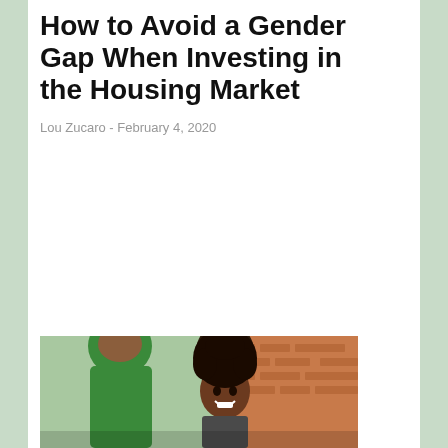How to Avoid a Gender Gap When Investing in the Housing Market
Lou Zucaro  -  February 4, 2020
[Figure (photo): Two women outdoors near a brick building; one wearing green top with back turned, one smiling woman with natural hair facing forward]